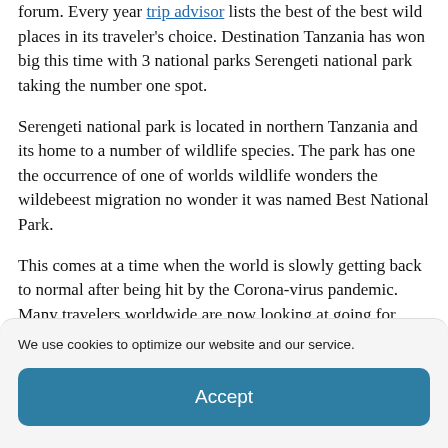forum. Every year trip advisor lists the best of the best wild places in its traveler's choice. Destination Tanzania has won big this time with 3 national parks Serengeti national park taking the number one spot.
Serengeti national park is located in northern Tanzania and its home to a number of wildlife species. The park has one the occurrence of one of worlds wildlife wonders the wildebeest migration no wonder it was named Best National Park.
This comes at a time when the world is slowly getting back to normal after being hit by the Corona-virus pandemic. Many travelers worldwide are now looking at going for
We use cookies to optimize our website and our service.
Accept